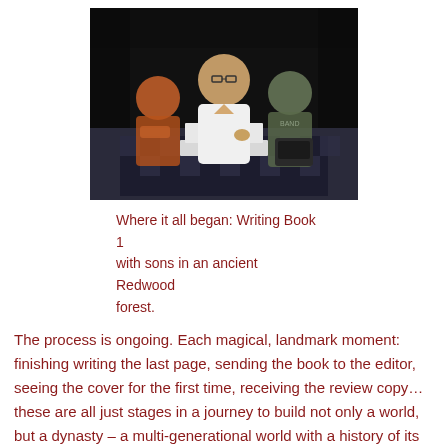[Figure (photo): A man in a white t-shirt and glasses sits at a picnic table with two boys on either side, looking at a laptop or tablet. They are outdoors at night in what appears to be a forested area. A camera bag is visible on the table.]
Where it all began: Writing Book 1 with sons in an ancient Redwood forest.
The process is ongoing. Each magical, landmark moment: finishing writing the last page, sending the book to the editor, seeing the cover for the first time, receiving the review copy… these are all just stages in a journey to build not only a world, but a dynasty – a multi-generational world with a history of its own.